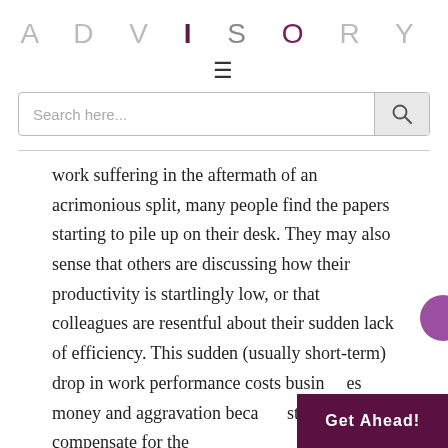ADVISORY
work suffering in the aftermath of an acrimonious split, many people find the papers starting to pile up on their desk. They may also sense that others are discussing how their productivity is startlingly low, or that colleagues are resentful about their sudden lack of efficiency. This sudden (usually short-term) drop in work performance costs businesses money and aggravation because staff must compensate for the
Get Ahead!